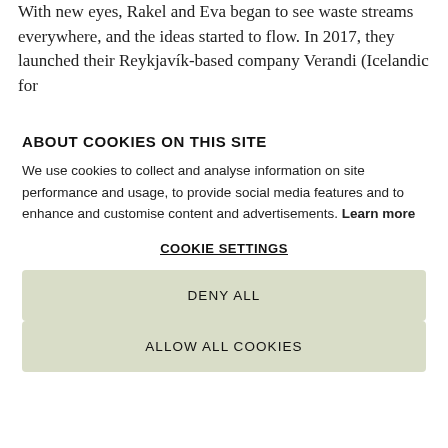With new eyes, Rakel and Eva began to see waste streams everywhere, and the ideas started to flow. In 2017, they launched their Reykjavík-based company Verandi (Icelandic for …
ABOUT COOKIES ON THIS SITE
We use cookies to collect and analyse information on site performance and usage, to provide social media features and to enhance and customise content and advertisements. Learn more
COOKIE SETTINGS
DENY ALL
ALLOW ALL COOKIES